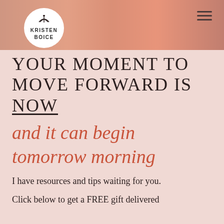[Figure (photo): Header photo with books and pink journal, partially visible behind logo]
KRISTEN BOICE (logo with book icon)
YOUR MOMENT TO MOVE FORWARD IS NOW
and it can begin tomorrow morning
I have resources and tips waiting for you.
Click below to get a FREE gift delivered